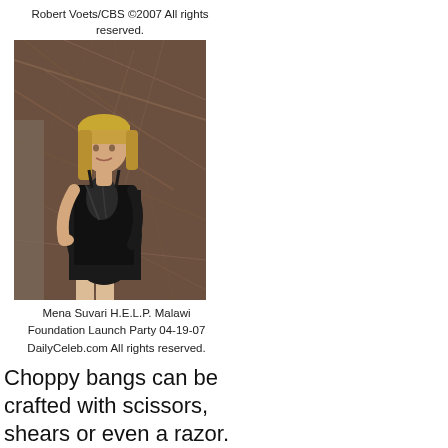Robert Voets/CBS ©2007 All rights reserved.
[Figure (photo): Woman (Mena Suvari) wearing a black dress standing in front of a textured brown background, with blonde hair and bangs.]
Mena Suvari H.E.L.P. Malawi Foundation Launch Party 04-19-07
DailyCeleb.com All rights reserved.
Choppy bangs can be crafted with scissors, shears or even a razor. When choppy bangs are cut with a scissors, deep V